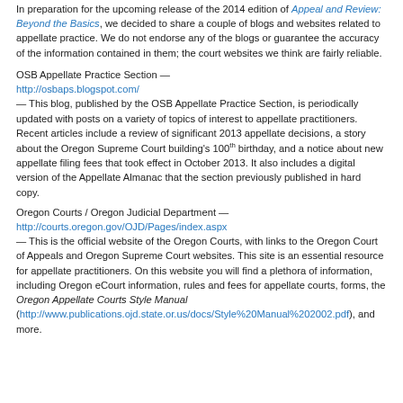In preparation for the upcoming release of the 2014 edition of Appeal and Review: Beyond the Basics, we decided to share a couple of blogs and websites related to appellate practice. We do not endorse any of the blogs or guarantee the accuracy of the information contained in them; the court websites we think are fairly reliable.
OSB Appellate Practice Section — http://osbaps.blogspot.com/ — This blog, published by the OSB Appellate Practice Section, is periodically updated with posts on a variety of topics of interest to appellate practitioners. Recent articles include a review of significant 2013 appellate decisions, a story about the Oregon Supreme Court building's 100th birthday, and a notice about new appellate filing fees that took effect in October 2013. It also includes a digital version of the Appellate Almanac that the section previously published in hard copy.
Oregon Courts / Oregon Judicial Department — http://courts.oregon.gov/OJD/Pages/index.aspx — This is the official website of the Oregon Courts, with links to the Oregon Court of Appeals and Oregon Supreme Court websites. This site is an essential resource for appellate practitioners. On this website you will find a plethora of information, including Oregon eCourt information, rules and fees for appellate courts, forms, the Oregon Appellate Courts Style Manual (http://www.publications.ojd.state.or.us/docs/Style%20Manual%202002.pdf), and more.